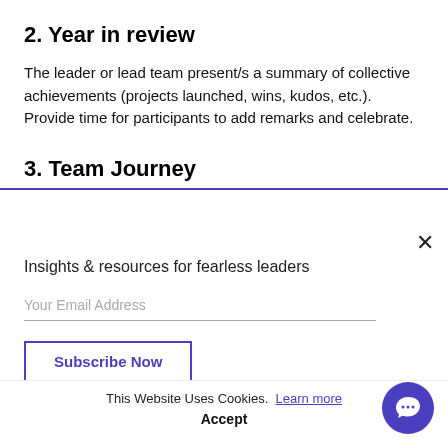2. Year in review
The leader or lead team present/s a summary of collective achievements (projects launched, wins, kudos, etc.). Provide time for participants to add remarks and celebrate.
3. Team Journey
Insights & resources for fearless leaders
Your Email Address
Subscribe Now
This Website Uses Cookies. Learn more
Accept